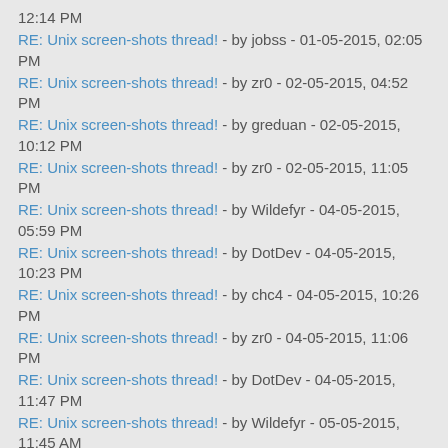12:14 PM
RE: Unix screen-shots thread! - by jobss - 01-05-2015, 02:05 PM
RE: Unix screen-shots thread! - by zr0 - 02-05-2015, 04:52 PM
RE: Unix screen-shots thread! - by greduan - 02-05-2015, 10:12 PM
RE: Unix screen-shots thread! - by zr0 - 02-05-2015, 11:05 PM
RE: Unix screen-shots thread! - by Wildefyr - 04-05-2015, 05:59 PM
RE: Unix screen-shots thread! - by DotDev - 04-05-2015, 10:23 PM
RE: Unix screen-shots thread! - by chc4 - 04-05-2015, 10:26 PM
RE: Unix screen-shots thread! - by zr0 - 04-05-2015, 11:06 PM
RE: Unix screen-shots thread! - by DotDev - 04-05-2015, 11:47 PM
RE: Unix screen-shots thread! - by Wildefyr - 05-05-2015, 11:45 AM
RE: Unix screen-shots thread! - by cjm - 05-05-2015, 12:09 PM
RE: Unix screen-shots thread! - by Webtm - 14-05-2015, 01:35 PM